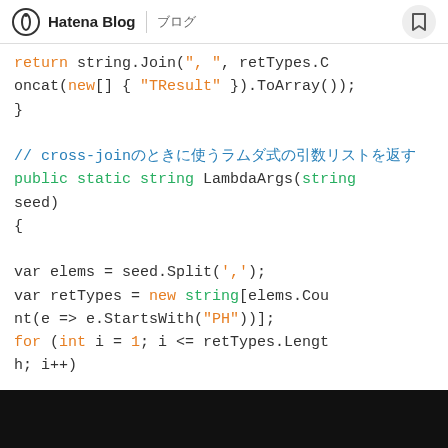Hatena Blog | ブログ
return string.Join(", ", retTypes.Concat(new[] { "TResult" }).ToArray());
}

// cross-joinのときに使うラムダ式の引数リストを返す
public static string LambdaArgs(string seed)
{
    var elems = seed.Split(',');
    var retTypes = new string[elems.Count(e => e.StartsWith("PH"))];
    for (int i = 1; i <= retTypes.Lengt
h; i++)